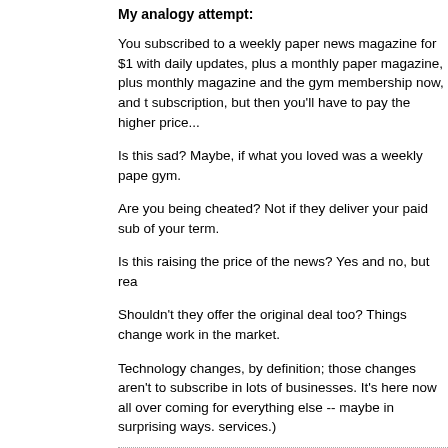My analogy attempt:
You subscribed to a weekly paper news magazine for $1 with daily updates, plus a monthly paper magazine, plus monthly magazine and the gym membership now, and the subscription, but then you'll have to pay the higher price...
Is this sad? Maybe, if what you loved was a weekly pape gym.
Are you being cheated? Not if they deliver your paid sub of your term.
Is this raising the price of the news? Yes and no, but rea
Shouldn't they offer the original deal too? Things change work in the market.
Technology changes, by definition; those changes aren't to subscribe in lots of businesses. It's here now all over coming for everything else -- maybe in surprising ways. services.)
We're doing the best to navigate these changes at Faith potential to frustrate someone's plans or expectations, a mistakes, or launch things that don't turn out the way we
I'm sorry when that frustrates you, and promise that we user's situation specifically. We will also continue to liste
Thanks for letting us know what you think, even if you're